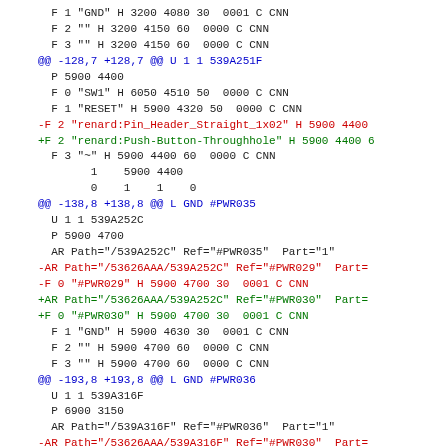Diff output of KiCad schematic file showing component changes including SW1 RESET button footprint change from Pin_Header_Straight_1x02 to Push-Button-Throughhole, and GND power references #PWR035 and #PWR036 with AR path updates.